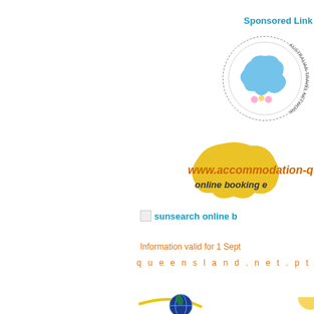Sponsored Link
[Figure (logo): Australian Travel Network circular logo with map of Australia]
[Figure (logo): www.accommodation-queensland... online booking e... logo with Queensland map shape in gold]
[Figure (logo): sunsearch online booking logo/link]
Information valid for 1 Sept...
queensland.net.pty...
[Figure (logo): seo-world.net logo with globe and swoosh]
[Figure (logo): Partial logo at bottom right]